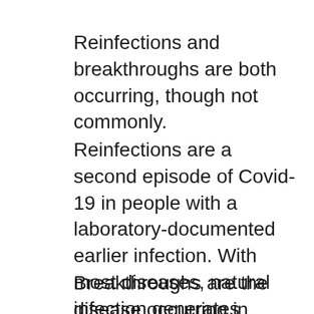Reinfections and breakthroughs are both occurring, though not commonly.
Reinfections are a second episode of Covid-19 in people with a laboratory-documented earlier infection. With most diseases, natural infection generates effective, durable immunity. Reinfections seem to show that immunity against this virus does not last long, at least in some people.
Breakthroughs are the disease occurring in people that are fully